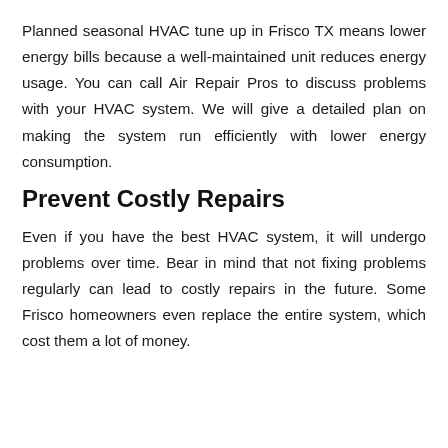Planned seasonal HVAC tune up in Frisco TX means lower energy bills because a well-maintained unit reduces energy usage. You can call Air Repair Pros to discuss problems with your HVAC system. We will give a detailed plan on making the system run efficiently with lower energy consumption.
Prevent Costly Repairs
Even if you have the best HVAC system, it will undergo problems over time. Bear in mind that not fixing problems regularly can lead to costly repairs in the future. Some Frisco homeowners even replace the entire system, which cost them a lot of money.